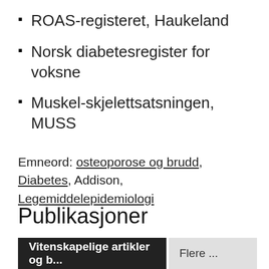ROAS-registeret, Haukeland
Norsk diabetesregister for voksne
Muskel-skjelettsatsningen, MUSS
Emneord: osteoporose og brudd, Diabetes, Addison, Legemiddelepidemiologi
Publikasjoner
Vitenskapelige artikler og b...   Flere ...